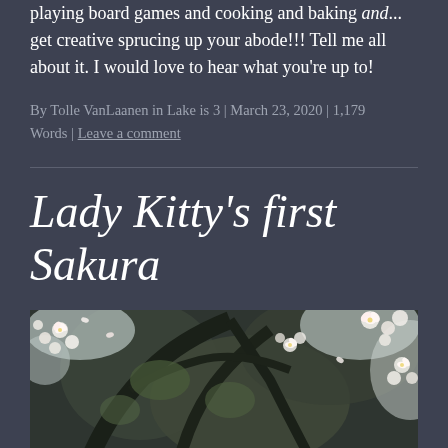playing board games and cooking and baking and... get creative sprucing up your abode!!! Tell me all about it. I would love to hear what you're up to!
By Tolle VanLaanen in Lake is 3 | March 23, 2020 | 1,179 Words | Leave a comment
Lady Kitty's first Sakura
[Figure (photo): Photo looking up through a cherry blossom (sakura) tree, showing white blossoms against a mossy gnarled trunk and overcast sky.]